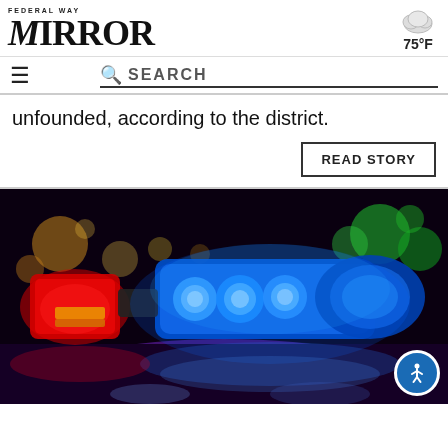Federal Way Mirror
75°F
SEARCH
unfounded, according to the district.
READ STORY
[Figure (photo): Police car with flashing blue and red emergency lights at night, with bokeh city lights in the background.]